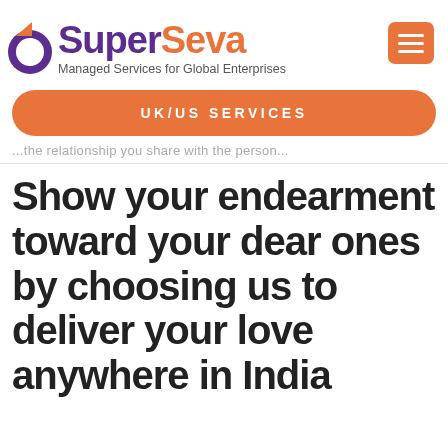[Figure (logo): SuperSeva logo with purple and orange text and a circular icon, tagline: Managed Services for Global Enterprises]
[Figure (other): Orange hamburger menu button with three white lines]
UK/US SERVICES
...the relationship you share with the person...
Show your endearment toward your dear ones by choosing us to deliver your love anywhere in India